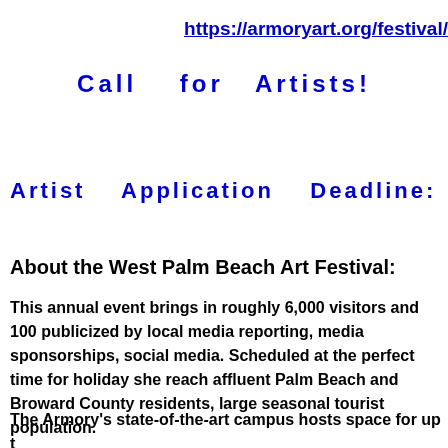https://armoryart.org/festival/
Call   for  Artists!
Artist   Application   Deadline:   Augu
About the West Palm Beach Art Festival:
This annual event brings in roughly 6,000 visitors and 100 publicized by local media reporting, media sponsorships, social media. Scheduled at the perfect time for holiday she reach affluent Palm Beach and Broward County residents, large seasonal tourist population.
The Armory's state-of-the-art campus hosts space for up t